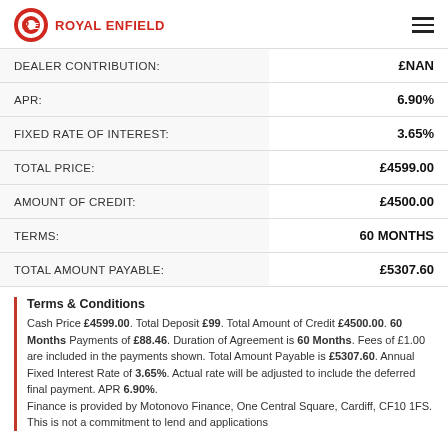Royal Enfield
|  |  |
| --- | --- |
| DEALER CONTRIBUTION: | £NAN |
| APR: | 6.90% |
| FIXED RATE OF INTEREST: | 3.65% |
| TOTAL PRICE: | £4599.00 |
| AMOUNT OF CREDIT: | £4500.00 |
| TERMS: | 60 MONTHS |
| TOTAL AMOUNT PAYABLE: | £5307.60 |
Terms & Conditions
Cash Price £4599.00. Total Deposit £99. Total Amount of Credit £4500.00. 60 Months Payments of £88.46. Duration of Agreement is 60 Months. Fees of £1.00 are included in the payments shown. Total Amount Payable is £5307.60. Annual Fixed Interest Rate of 3.65%. Actual rate will be adjusted to include the deferred final payment. APR 6.90%. Finance is provided by Motonovo Finance, One Central Square, Cardiff, CF10 1FS. This is not a commitment to lend and applications